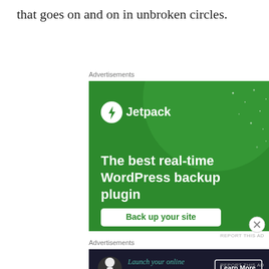that goes on and on in unbroken circles.
Advertisements
[Figure (screenshot): Jetpack WordPress backup plugin advertisement on green background. Shows Jetpack logo, text 'The best real-time WordPress backup plugin', and a 'Back up your site' button.]
Advertisements
[Figure (screenshot): WordPress online course advertisement on dark background. Shows a tree/person icon, text 'Launch your online course with WordPress', and a 'Learn More' button.]